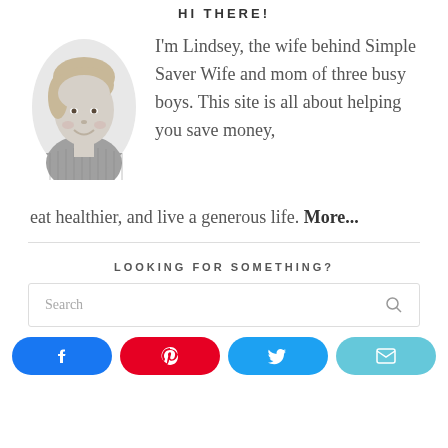HI THERE!
I'm Lindsey, the wife behind Simple Saver Wife and mom of three busy boys. This site is all about helping you save money, eat healthier, and live a generous life. More...
LOOKING FOR SOMETHING?
Search